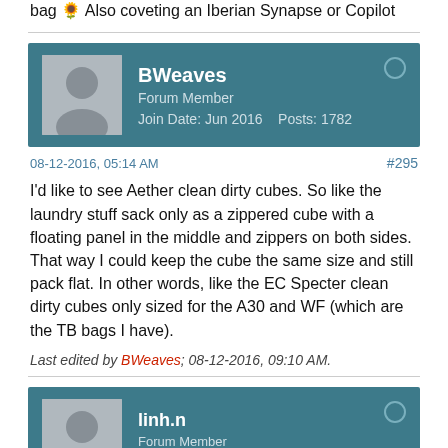bag 🌻 Also coveting an Iberian Synapse or Copilot
BWeaves
Forum Member
Join Date: Jun 2016    Posts: 1782
08-12-2016, 05:14 AM
#295
I'd like to see Aether clean dirty cubes. So like the laundry stuff sack only as a zippered cube with a floating panel in the middle and zippers on both sides. That way I could keep the cube the same size and still pack flat. In other words, like the EC Specter clean dirty cubes only sized for the A30 and WF (which are the TB bags I have).
Last edited by BWeaves; 08-12-2016, 09:10 AM.
linh.n
Forum Member
Join Date: Aug 2014    Posts: 50